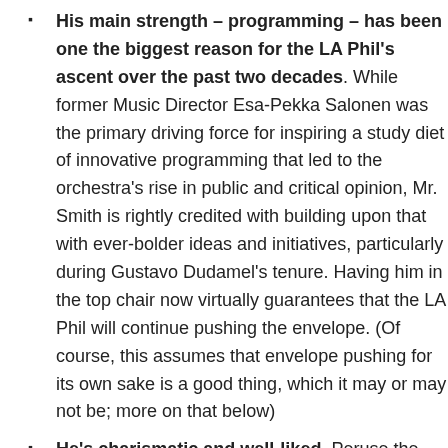His main strength – programming – has been one the biggest reason for the LA Phil's ascent over the past two decades. While former Music Director Esa-Pekka Salonen was the primary driving force for inspiring a study diet of innovative programming that led to the orchestra's rise in public and critical opinion, Mr. Smith is rightly credited with building upon that with ever-bolder ideas and initiatives, particularly during Gustavo Dudamel's tenure. Having him in the top chair now virtually guarantees that the LA Phil will continue pushing the envelope. (Of course, this assumes that envelope pushing for its own sake is a good thing, which it may or may not be; more on that below)
He's charismatic and well-liked. Peruse the Twitterverse's reactions to his promotion, and luminaries such as John Adams, Alex Ross, and Gautier Capuçon are among the many offering plaudits. The Board of